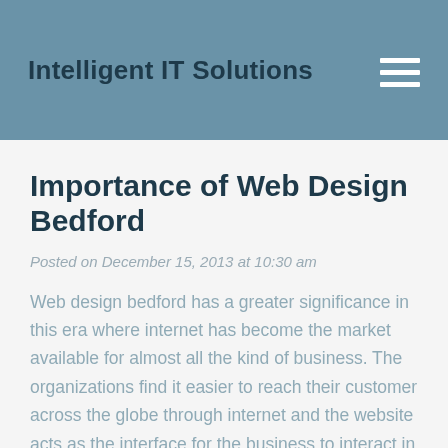Intelligent IT Solutions
Importance of Web Design Bedford
Posted on December 15, 2013 at 10:30 am
Web design bedford has a greater significance in this era where internet has become the market available for almost all the kind of business. The organizations find it easier to reach their customer across the globe through internet and the website acts as the interface for the business to interact in an efficient manner. It is much required for an organization to get the website designed in a